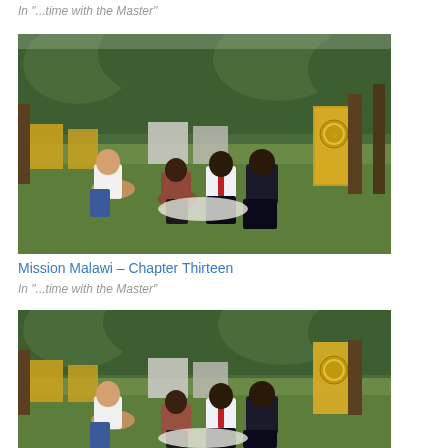In "...time with the Master"
[Figure (photo): Outdoor scene showing four people sitting on grass in a park-like setting with trees and yellow/white cubic structures in background. One person in white shirt and jeans sitting cross-legged, others in various clothing seated around on the grass.]
Mission Malawi – Chapter Thirteen
In "...time with the Master"
[Figure (photo): Same outdoor scene as above, a slightly different crop showing four people sitting on grass in a park-like setting with trees and yellow/white cubic structures in background.]